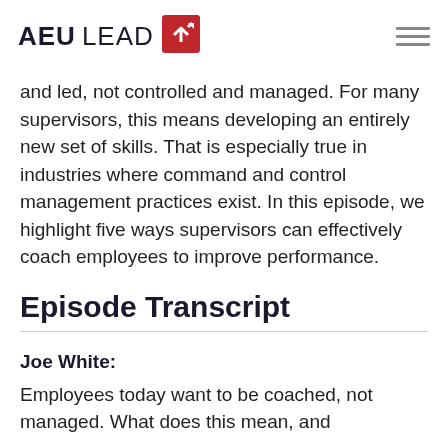AEU LEAD
and led, not controlled and managed. For many supervisors, this means developing an entirely new set of skills. That is especially true in industries where command and control management practices exist. In this episode, we highlight five ways supervisors can effectively coach employees to improve performance.
Episode Transcript
Joe White:
Employees today want to be coached, not managed. What does this mean, and